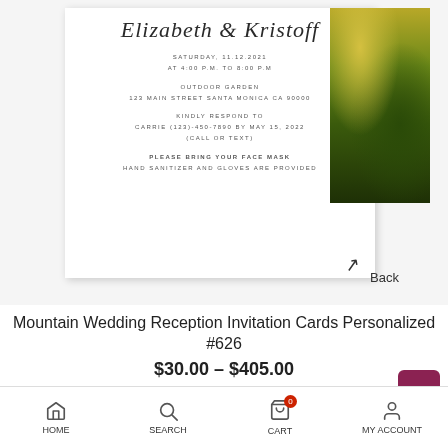[Figure (photo): Wedding invitation card for Elizabeth & Kristoff showing event details: Saturday 11.12.2021, 4:00 PM to 8:00 PM, Outdoor Garden, 123 Main Street Santa Monica CA 90000. RSVP to Carrie (123)-450-7890 by May 15, 2022. Please bring your face mask, hand sanitizer and gloves are provided. Overlaid with a nature/grass photo on the right side.]
Mountain Wedding Reception Invitation Cards Personalized #626
$30.00 – $405.00
HOME  SEARCH  CART  MY ACCOUNT